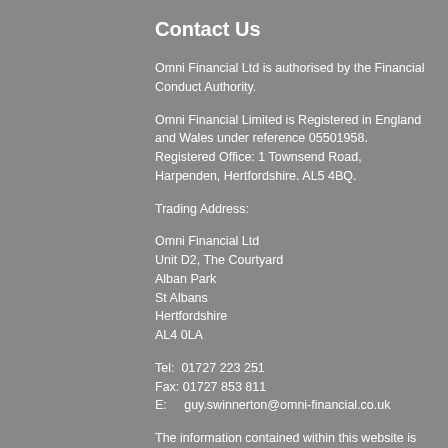Contact Us
Omni Financial Ltd is authorised by the Financial Conduct Authority.
Omni Financial Limited is Registered in England and Wales under reference 05501958. Registered Office: 1 Townsend Road, Harpenden, Hertfordshire. AL5 4BQ.
Trading Address:
Omni Financial Ltd
Unit D2, The Courtyard
Alban Park
St Albans
Hertfordshire
AL4 0LA
Tel:  01727 223 251
Fax: 01727 853 811
E:     guy.swinnerton@omni-financial.co.uk
The information contained within this website is subject to the UK regulatory